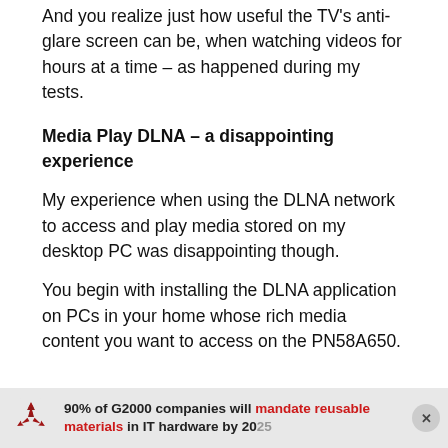And you realize just how useful the TV's anti-glare screen can be, when watching videos for hours at a time – as happened during my tests.
Media Play DLNA – a disappointing experience
My experience when using the DLNA network to access and play media stored on my desktop PC was disappointing though.
You begin with installing the DLNA application on PCs in your home whose rich media content you want to access on the PN58A650.
[Figure (infographic): Ad banner with recycling icon: '90% of G2000 companies will mandate reusable materials in IT hardware by 2025' with a close button]